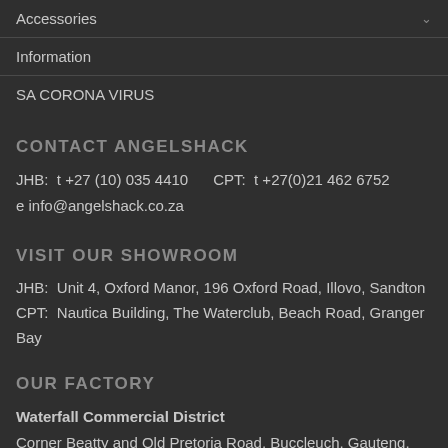Accessories
Information
SA CORONA VIRUS
CONTACT ANGELSHACK
JHB:  t +27 (10) 035 4410     CPT:  t +27(0)21 462 6752
e info@angelshack.co.za
VISIT OUR SHOWROOM
JHB:  Unit 4, Oxford Manor, 196 Oxford Road, Illovo, Sandton
CPT:  Nautica Building, The Waterclub, Beach Road, Granger Bay
OUR FACTORY
Waterfall Commercial District
Corner Beatty and Old Pretoria Road, Buccleuch, Gauteng, South Africa